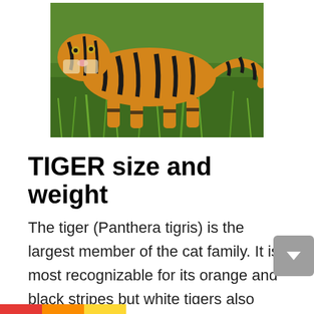[Figure (photo): A tiger (orange with black stripes) walking on grass, viewed from slightly above. The tiger faces left with its tail visible on the right side.]
TIGER size and weight
The tiger (Panthera tigris) is the largest member of the cat family. It is most recognizable for its orange and black stripes but white tigers also occur. The tiger is an apex predator meaning it is at the top of the food chain and has no natural predators. Tigers are typically 3.3 to 4.5 m (11 to